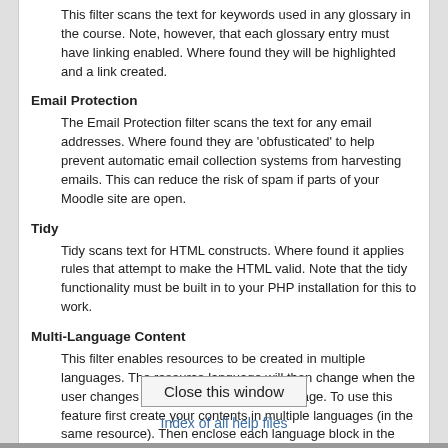This filter scans the text for keywords used in any glossary in the course. Note, however, that each glossary entry must have linking enabled. Where found they will be highlighted and a link created.
Email Protection
The Email Protection filter scans the text for any email addresses. Where found they are 'obfusticated' to help prevent automatic email collection systems from harvesting emails. This can reduce the risk of spam if parts of your Moodle site are open.
Tidy
Tidy scans text for HTML constructs. Where found it applies rules that attempt to make the HTML valid. Note that the tidy functionality must be built in to your PHP installation for this to work.
Multi-Language Content
This filter enables resources to be created in multiple languages. The resource language will then change when the user changes their selected Moodle language. To use this feature first create your contents in multiple languages (in the same resource). Then enclose each language block in the following tags:
<span lang="XX" class="multilang">your_content_here</span>
You can still use the old (deprecated) span tags instead, for example:
<lang lang="XX" >your_content_here</lang>
Close this window
Index of all help files